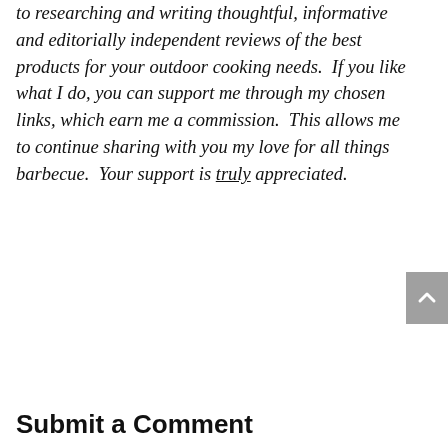to researching and writing thoughtful, informative and editorially independent reviews of the best products for your outdoor cooking needs.  If you like what I do, you can support me through my chosen links, which earn me a commission.  This allows me to continue sharing with you my love for all things barbecue.  Your support is truly appreciated.
Submit a Comment